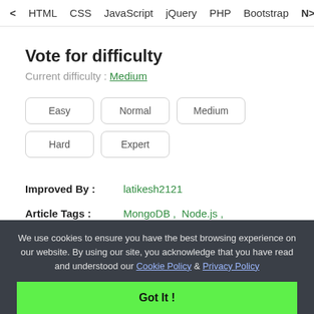< HTML   CSS   JavaScript   jQuery   PHP   Bootstrap   N>
Vote for difficulty
Current difficulty : Medium
Easy
Normal
Medium
Hard
Expert
Improved By :   latikesh2121
Article Tags :   MongoDB ,  Node.js ,  Web Technologies
We use cookies to ensure you have the best browsing experience on our website. By using our site, you acknowledge that you have read and understood our Cookie Policy & Privacy Policy
Got It !